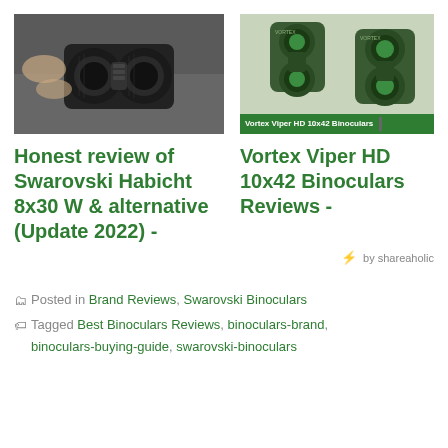[Figure (photo): Close-up of hands adjusting black Swarovski Habicht binoculars]
[Figure (photo): Vortex Viper HD 10x42 Binoculars product photo showing two green binoculars with label banner]
Honest review of Swarovski Habicht 8x30 W & alternative (Update 2022) -
Vortex Viper HD 10x42 Binoculars Reviews -
by shareaholic
Posted in Brand Reviews, Swarovski Binoculars
Tagged Best Binoculars Reviews, binoculars-brand, binoculars-buying-guide, swarovski-binoculars